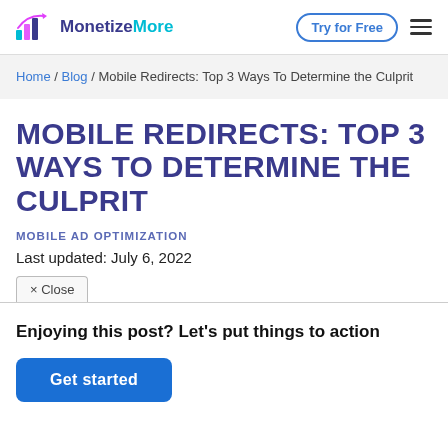MonetizeMore — Try for Free
Home / Blog / Mobile Redirects: Top 3 Ways To Determine the Culprit
MOBILE REDIRECTS: TOP 3 WAYS TO DETERMINE THE CULPRIT
MOBILE AD OPTIMIZATION
Last updated: July 6, 2022
× Close
Enjoying this post? Let's put things to action
Get started